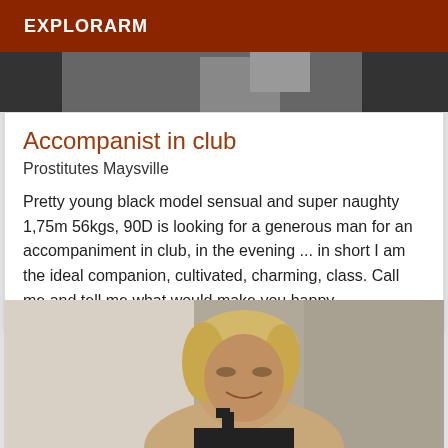EXPLORARM
[Figure (photo): Partial photo strip showing cropped figures at the top of the page]
Accompanist in club
Prostitutes Maysville
Pretty young black model sensual and super naughty 1,75m 56kgs, 90D is looking for a generous man for an accompaniment in club, in the evening ... in short I am the ideal companion, cultivated, charming, class. Call me and tell me what would make you happy.
[Figure (photo): Photo of a middle-aged blonde woman smiling slightly, wearing a black top, against a grey wall background]